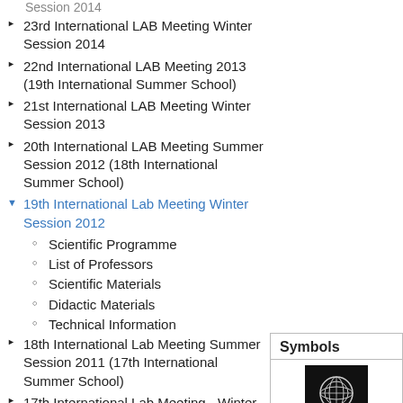Session 2014
23rd International LAB Meeting Winter Session 2014
22nd International LAB Meeting 2013 (19th International Summer School)
21st International LAB Meeting Winter Session 2013
20th International LAB Meeting Summer Session 2012 (18th International Summer School)
19th International Lab Meeting Winter Session 2012
Scientific Programme
List of Professors
Scientific Materials
Didactic Materials
Technical Information
18th International Lab Meeting Summer Session 2011 (17th International Summer School)
17th International Lab Meeting - Winter Session 2011
16th International LAB Meeting 2010
Symbols
[Figure (logo): Marrakech logo - circular emblem on black background]